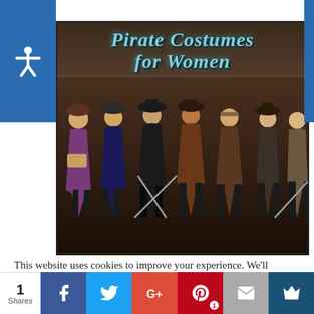[Figure (photo): Promotional image titled 'Pirate Costumes for Women' showing seven women in various pirate costume styles against a dark ship background]
This website uses cookies to improve your experience. We'll assume you're ok with this, but you can opt-out if you wish.
1 Shares | Facebook | Twitter | Google+ | Pinterest 1 | Email | Crown